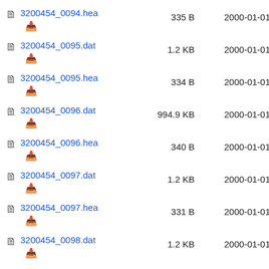3200454_0094.hea   335 B   2000-01-01
3200454_0095.dat   1.2 KB   2000-01-01
3200454_0095.hea   334 B   2000-01-01
3200454_0096.dat   994.9 KB   2000-01-01
3200454_0096.hea   340 B   2000-01-01
3200454_0097.dat   1.2 KB   2000-01-01
3200454_0097.hea   331 B   2000-01-01
3200454_0098.dat   1.2 KB   2000-01-01